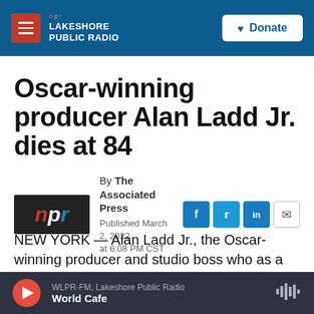LAKESHORE PUBLIC RADIO — Donate
Oscar-winning producer Alan Ladd Jr. dies at 84
By The Associated Press
Published March 2, 2022 at 6:08 PM CST
NEW YORK — Alan Ladd Jr., the Oscar-winning producer and studio boss who as a 20th Century
WLPR-FM, Lakeshore Public Radio — World Cafe